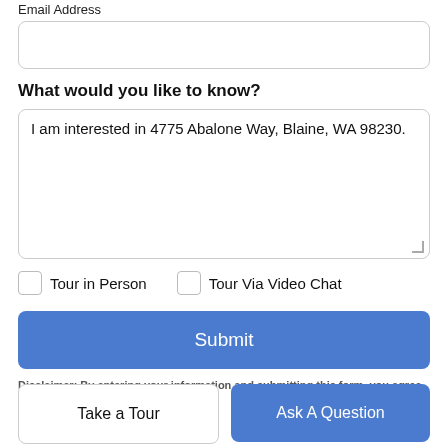Email Address
What would you like to know?
I am interested in 4775 Abalone Way, Blaine, WA 98230.
Tour in Person
Tour Via Video Chat
Submit
Disclaimer: By entering your information and submitting this form, you agree
Take a Tour
Ask A Question